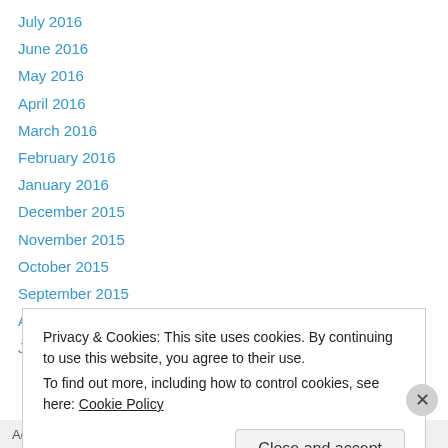July 2016
June 2016
May 2016
April 2016
March 2016
February 2016
January 2016
December 2015
November 2015
October 2015
September 2015
August 2015
July 2015
Privacy & Cookies: This site uses cookies. By continuing to use this website, you agree to their use. To find out more, including how to control cookies, see here: Cookie Policy
Close and accept
Advertisements